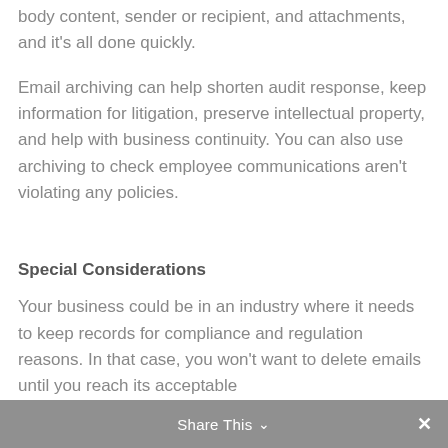body content, sender or recipient, and attachments, and it's all done quickly.
Email archiving can help shorten audit response, keep information for litigation, preserve intellectual property, and help with business continuity. You can also use archiving to check employee communications aren't violating any policies.
Special Considerations
Your business could be in an industry where it needs to keep records for compliance and regulation reasons. In that case, you won't want to delete emails until you reach its acceptable
Share This ∨  ✕